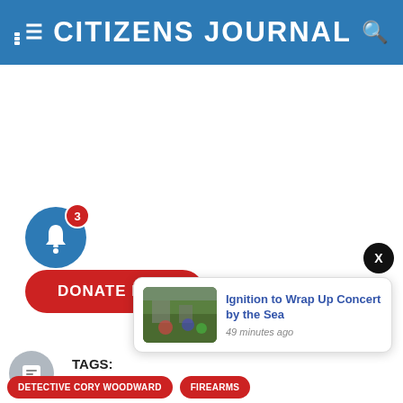CITIZENS JOURNAL
[Figure (screenshot): Notification bell button with badge showing 3, and a red Donate Now button]
[Figure (screenshot): Notification popup card showing 'Ignition to Wrap Up Concert by the Sea' with thumbnail, 49 minutes ago]
TAGS:
DETECTIVE CORY WOODWARD
FIREARMS